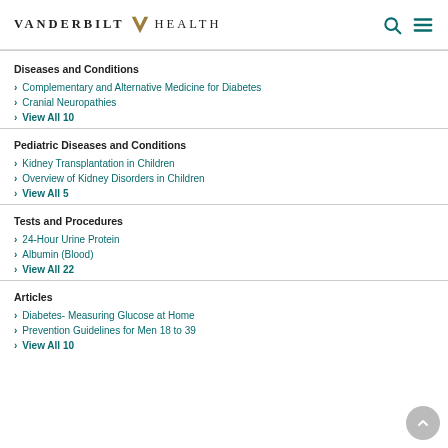VANDERBILT HEALTH
Diseases and Conditions
Complementary and Alternative Medicine for Diabetes
Cranial Neuropathies
View All 10
Pediatric Diseases and Conditions
Kidney Transplantation in Children
Overview of Kidney Disorders in Children
View All 5
Tests and Procedures
24-Hour Urine Protein
Albumin (Blood)
View All 22
Articles
Diabetes- Measuring Glucose at Home
Prevention Guidelines for Men 18 to 39
View All 10